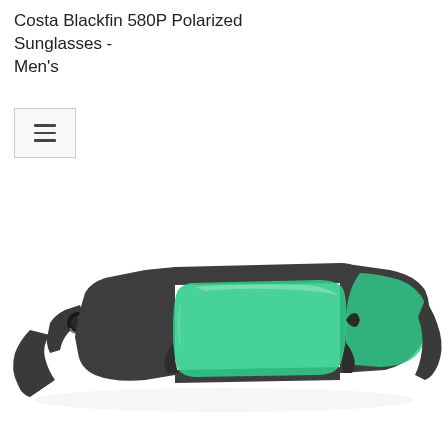Costa Blackfin 580P Polarized Sunglasses - Men's
[Figure (photo): Costa Blackfin 580P Polarized Sunglasses in matte gray frame with green mirror polarized lenses, shown at a three-quarter angle against a white background.]